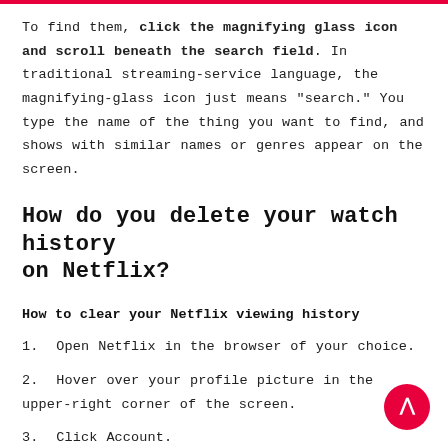To find them, click the magnifying glass icon and scroll beneath the search field. In traditional streaming-service language, the magnifying-glass icon just means "search." You type the name of the thing you want to find, and shows with similar names or genres appear on the screen.
How do you delete your watch history on Netflix?
How to clear your Netflix viewing history
1. Open Netflix in the browser of your choice.
2. Hover over your profile picture in the upper-right corner of the screen.
3. Click Account.